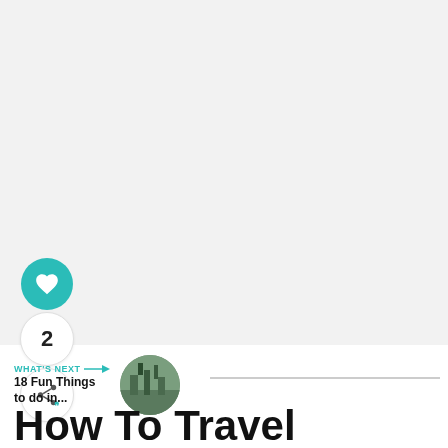[Figure (photo): Large light grey placeholder image area at the top of the page]
[Figure (infographic): Social sidebar with teal heart button, count badge showing 2, and share button]
WHAT'S NEXT → 18 Fun Things to do in...
[Figure (photo): Circular thumbnail image showing trees and a structure]
How To Travel Cappadocia